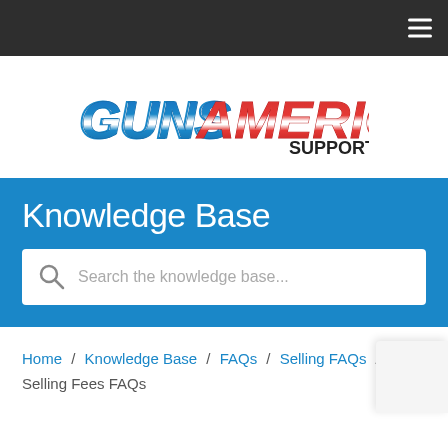Navigation bar with hamburger menu
[Figure (logo): GunsAmerica Support logo with red, white and blue stylized text]
Knowledge Base
Search the knowledge base...
Home / Knowledge Base / FAQs / Selling FAQs / Selling Fees FAQs